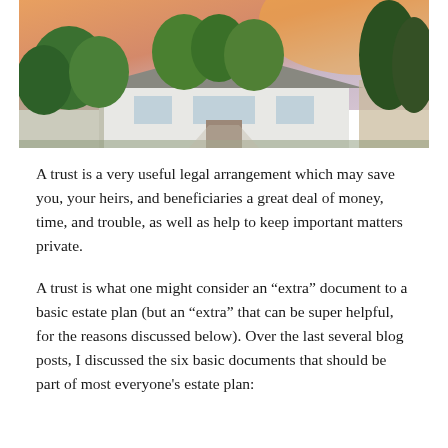[Figure (photo): Photograph of a suburban house with trees and an orange-tinted sunset sky in the background]
A trust is a very useful legal arrangement which may save you, your heirs, and beneficiaries a great deal of money, time, and trouble, as well as help to keep important matters private.
A trust is what one might consider an "extra" document to a basic estate plan (but an "extra" that can be super helpful, for the reasons discussed below). Over the last several blog posts, I discussed the six basic documents that should be part of most everyone's estate plan: